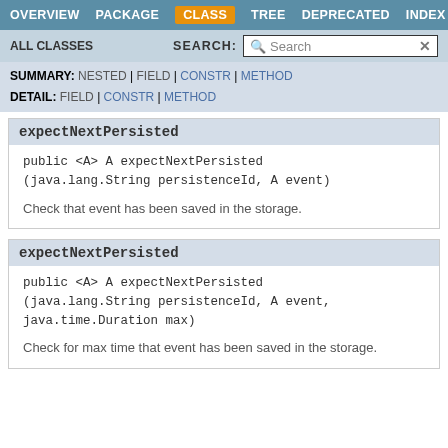OVERVIEW  PACKAGE  CLASS  TREE  DEPRECATED  INDEX
ALL CLASSES    SEARCH:  Search
SUMMARY: NESTED | FIELD | CONSTR | METHOD
DETAIL: FIELD | CONSTR | METHOD
expectNextPersisted
public <A> A expectNextPersisted
(java.lang.String persistenceId, A event)
Check that event has been saved in the storage.
expectNextPersisted
public <A> A expectNextPersisted
(java.lang.String persistenceId, A event,
java.time.Duration max)
Check for max time that event has been saved in the storage.